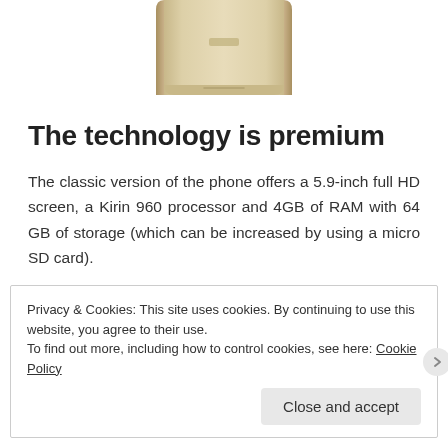[Figure (photo): Partial view of a gold/champagne colored Huawei smartphone, showing the bottom portion of the device from the back]
The technology is premium
The classic version of the phone offers a 5.9-inch full HD screen, a Kirin 960 processor and 4GB of RAM with 64 GB of storage (which can be increased by using a micro SD card).
Privacy & Cookies: This site uses cookies. By continuing to use this website, you agree to their use.
To find out more, including how to control cookies, see here: Cookie Policy
[Close and accept]